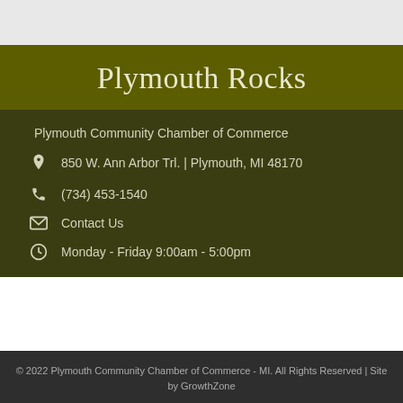Plymouth Rocks
Plymouth Community Chamber of Commerce
850 W. Ann Arbor Trl. | Plymouth, MI 48170
(734) 453-1540
Contact Us
Monday - Friday 9:00am - 5:00pm
© 2022 Plymouth Community Chamber of Commerce - MI.  All Rights Reserved | Site by GrowthZone